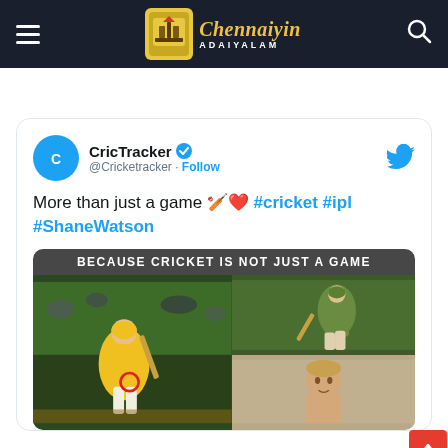Chennaiyin ADAIYALAM
[Figure (screenshot): Tweet from CricTracker (@Cricketracker) with text: More than just a game 🏏❤️ #cricket #ipl #ShaneWatson, with an attached image collage titled BECAUSE CRICKET IS NOT JUST A GAME showing Shane Watson in CSK yellow jersey batting, and other cricket photos]
More than just a game 🏏❤️ #cricket #ipl #ShaneWatson